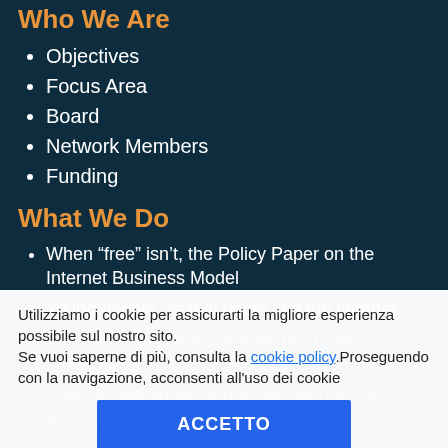Who We Are
Objectives
Focus Area
Board
Network Members
Funding
What We Do
When “free” isn’t, the Policy Paper on the Internet Business Model
Young people, sexual rights and the internet
The rules governing General Top-Level Domains
Child sexual abuse and exploitation online
EU Public Consultations
Reform of EU Data Protection rules
Events
Resources
Utilizziamo i cookie per assicurarti la migliore esperienza possibile sul nostro sito. Se vuoi saperne di più, consulta la cookie policy.Proseguendo con la navigazione, acconsenti all'uso dei cookie
ACCETTO